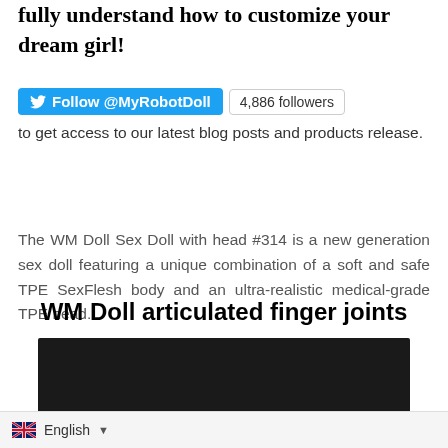fully understand how to customize your dream girl!
Follow @MyRobotDoll  4,886 followers  to get access to our latest blog posts and products release.
The WM Doll Sex Doll with head #314 is a new generation sex doll featuring a unique combination of a soft and safe TPE SexFlesh body and an ultra-realistic medical-grade TPE head.
WM Doll articulated finger joints
[Figure (other): Embedded video player showing WM Doll articulated finger joints video, paused at 0:00]
English ▼